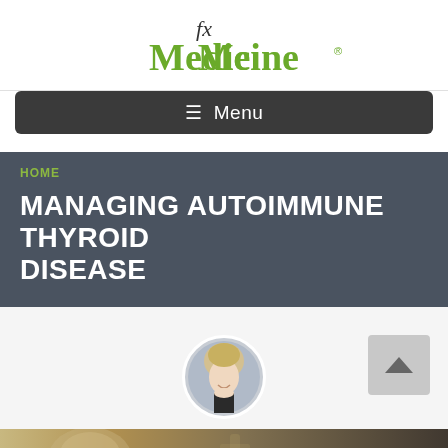[Figure (logo): fx Medicine logo — stylized italic 'fx' above 'Medicine' in green serif font]
≡ Menu
HOME
MANAGING AUTOIMMUNE THYROID DISEASE
[Figure (photo): Circular portrait photo of a smiling blonde woman]
[Figure (photo): Up chevron back-to-top button]
[Figure (photo): Medical illustration of a human skeleton/skull at the bottom of the page]